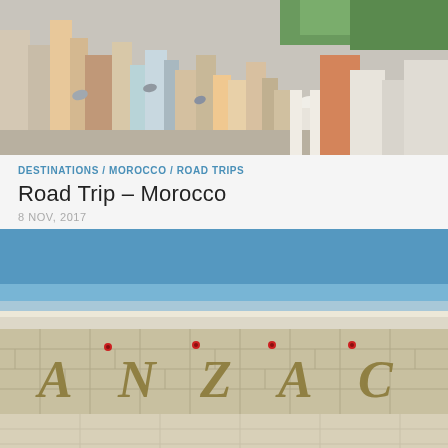[Figure (photo): Aerial/rooftop view of a dense Moroccan city with colorful buildings, satellite dishes, and trees in the background]
DESTINATIONS / MOROCCO / ROAD TRIPS
Road Trip – Morocco
8 NOV, 2017
[Figure (photo): Stone wall with 'ANZAC' letters in bronze/gold with red poppies, overlooking the sea in the background]